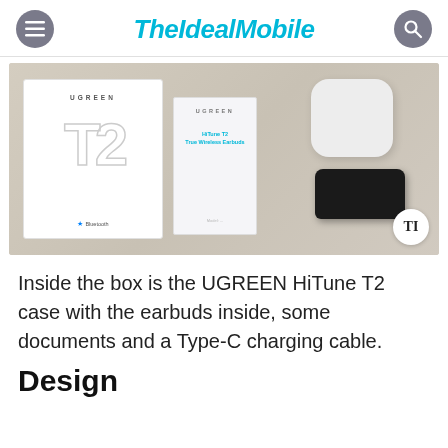TheIdealMobile
[Figure (photo): Unboxing photo of UGREEN HiTune T2 showing the box, manual/documentation booklet, white earbud case, and black Type-C charging cable laid out on a wooden surface.]
Inside the box is the UGREEN HiTune T2 case with the earbuds inside, some documents and a Type-C charging cable.
Design